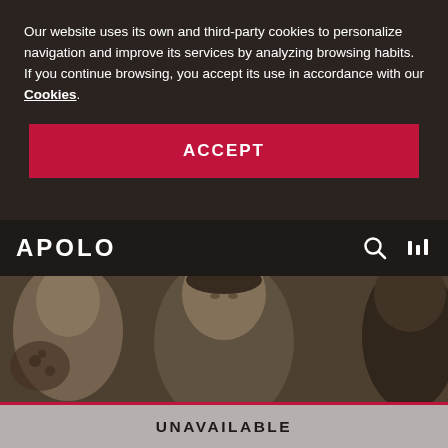Our website uses its own and third-party cookies to personalize navigation and improve its services by analyzing browsing habits. If you continue browsing, you accept its use in accordance with our Cookies.
ACCEPT
[Figure (photo): Navigation bar with APOLO logo on the left and search/menu icons on the right, over a dark background with a photo of three people (two men and a woman) with neutral expressions]
UNAVAILABLE